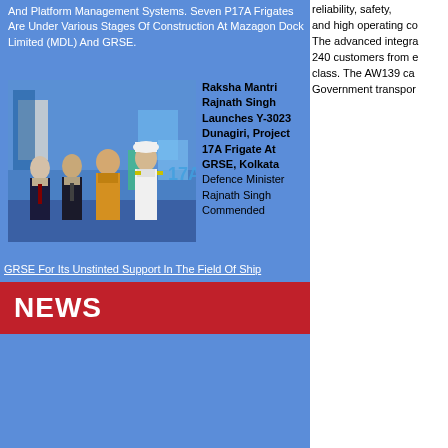And Platform Management Systems. Seven P17A Frigates Are Under Various Stages Of Construction At Mazagon Dock Limited (MDL) And GRSE.
[Figure (photo): Group photo of four men standing in formal attire at GRSE Kolkata shipyard event, including a naval officer in white uniform]
Raksha Mantri Rajnath Singh Launches Y-3023 Dunagiri, Project 17A Frigate At GRSE, Kolkata Defence Minister Rajnath Singh Commended GRSE For Its Unstinted Support In The Field Of Ship
NEWS
reliability, safety, and high operating costs. The advanced integrated 240 customers from every class. The AW139 ca Government transport